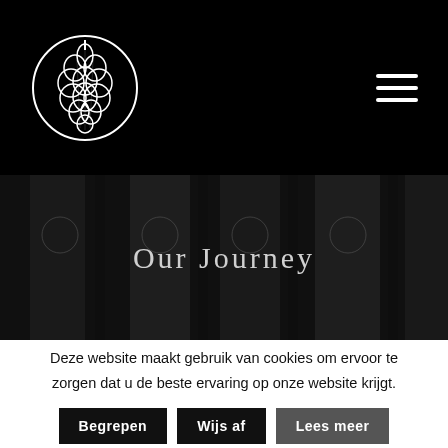[Figure (logo): Circular hop cone logo in white on black background with hamburger menu icon]
[Figure (photo): Black and white photo of beer tap handles with 'Our Journey' text overlay]
Deze website maakt gebruik van cookies om ervoor te zorgen dat u de beste ervaring op onze website krijgt.
Begrepen
Wijs af
Lees meer